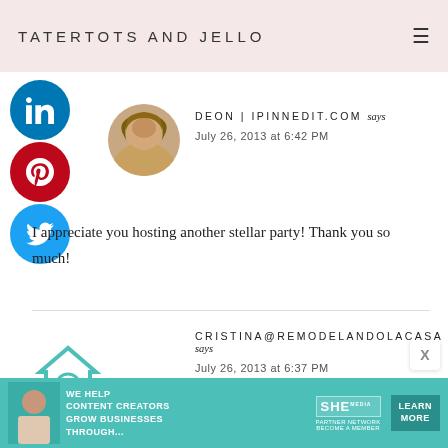TATERTOTS AND JELLO
[Figure (logo): LinkedIn social share button (teal circle with 'in' icon)]
[Figure (logo): Pinterest social share button (red circle with 'p' icon)]
[Figure (photo): Profile avatar of Deon (woman with long hair)]
DEON | IPINNEDIT.COM says
July 26, 2013 at 6:42 PM
[Figure (logo): Twitter social share button (teal circle with bird icon)]
I appreciate you hosting another stellar party! Thank you so much!
[Figure (logo): Remodelandolacasa house/R logo avatar in teal]
CRISTINA@REMODELANDOLACASA says
July 26, 2013 at 6:37 PM
[Figure (infographic): SHE Partner Network advertisement banner: 'We help content creators grow businesses through...' with Learn More button]